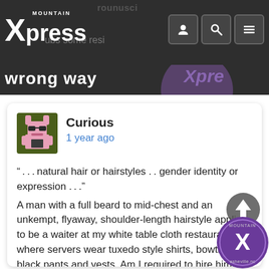Mountain Xpress
wrong way
[Figure (illustration): Pixel-art avatar of a pink bunny/cat character on a dark green background, used as user avatar for commenter 'Curious']
Curious
1 year ago
" . . . natural hair or hairstyles . . gender identity or expression . . ."
A man with a full beard to mid-chest and an unkempt, flyaway, shoulder-length hairstyle applies to be a waiter at my white table cloth restaurant, where servers wear tuxedo style shirts, bowties, black pants and vests. Am I required to hire him? May I impose any grooming requirements? A woman applies to be a sales assistant at my upscale, high fashion women's clothing boutique. She has shaved the top and back of head and wears the hair on the side of her head in corn-rows tied ponytail style. Am I required to hire her? A person who describes themselves as non-binary, wears a dress, has a full-beard, and a